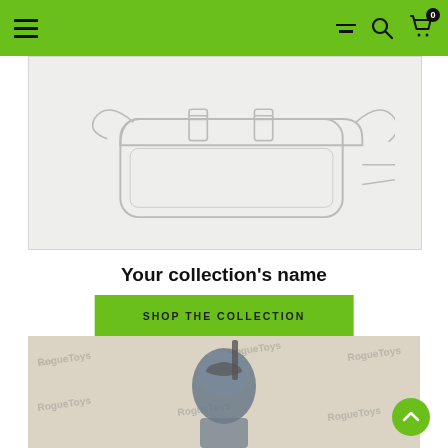Navigation bar with hamburger menu, filter/sort icon, search icon, and cart icon (badge: 0)
[Figure (illustration): Line drawing of a saddlebag / messenger bag product on a light gray background]
Your collection's name
SHOP THE COLLECTION
[Figure (photo): Photo of a Mandalorian action figure holding weapons, with RogueToys watermark repeated in background]